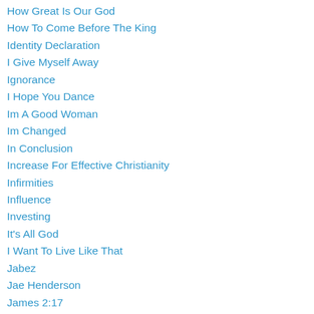How Great Is Our God
How To Come Before The King
Identity Declaration
I Give Myself Away
Ignorance
I Hope You Dance
Im A Good Woman
Im Changed
In Conclusion
Increase For Effective Christianity
Infirmities
Influence
Investing
It's All God
I Want To Live Like That
Jabez
Jae Henderson
James 2:17
Jason Lewis
Jehovah
Jeremiah 29:11